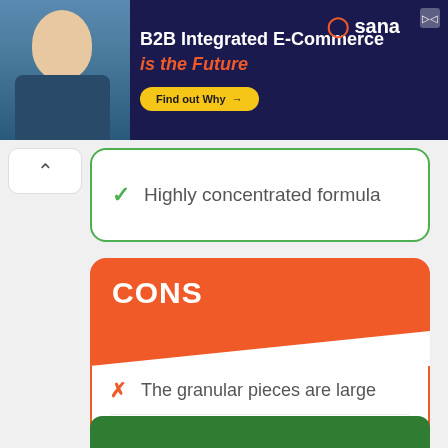[Figure (screenshot): Advertisement banner for Sana B2B Integrated E-Commerce with man photo, headline text, and Find out Why button]
Highly concentrated formula
CONS
The granular pieces are large
Lacks a money-back guarantee